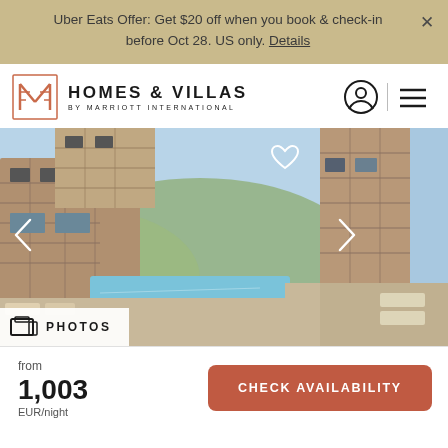Uber Eats Offer: Get $20 off when you book & check-in before Oct 28. US only. Details
[Figure (logo): Homes & Villas by Marriott International logo with stylized M icon]
[Figure (photo): Main photo: stone villa exterior with swimming pool and hillside view]
[Figure (photo): Side photo: stone villa exterior with terrace and lounge chairs]
from 1,003 EUR/night
CHECK AVAILABILITY